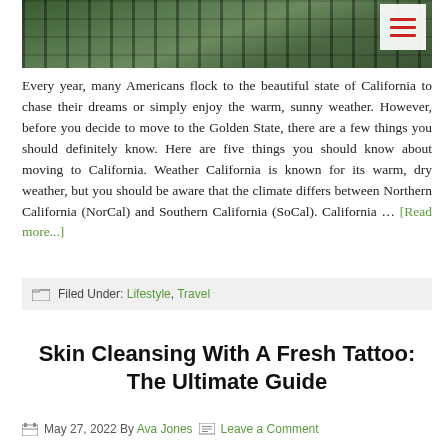[Figure (photo): Aerial or street-level photo of California palm trees and urban landscape with lush green foliage]
Every year, many Americans flock to the beautiful state of California to chase their dreams or simply enjoy the warm, sunny weather. However, before you decide to move to the Golden State, there are a few things you should definitely know. Here are five things you should know about moving to California. Weather California is known for its warm, dry weather, but you should be aware that the climate differs between Northern California (NorCal) and Southern California (SoCal). California … [Read more...]
Filed Under: Lifestyle, Travel
Skin Cleansing With A Fresh Tattoo: The Ultimate Guide
May 27, 2022 By Ava Jones   Leave a Comment